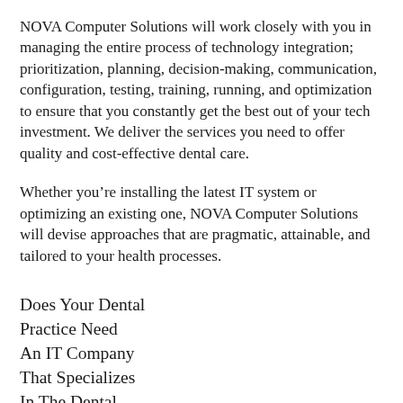NOVA Computer Solutions will work closely with you in managing the entire process of technology integration; prioritization, planning, decision-making, communication, configuration, testing, training, running, and optimization to ensure that you constantly get the best out of your tech investment. We deliver the services you need to offer quality and cost-effective dental care.
Whether you’re installing the latest IT system or optimizing an existing one, NOVA Computer Solutions will devise approaches that are pragmatic, attainable, and tailored to your health processes.
Does Your Dental Practice Need An IT Company That Specializes In The Dental Community?